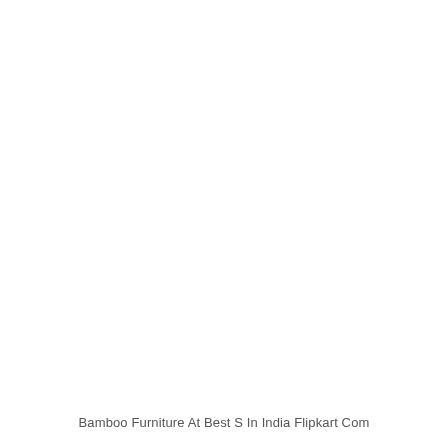Bamboo Furniture At Best S In India Flipkart Com